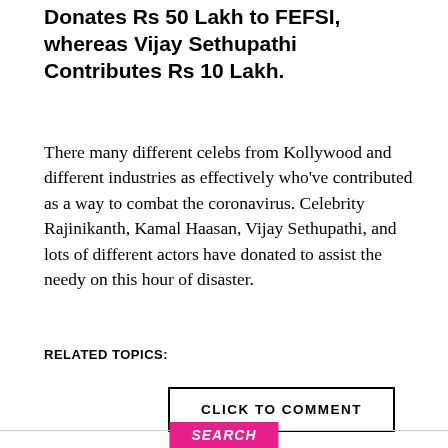Donates Rs 50 Lakh to FEFSI, whereas Vijay Sethupathi Contributes Rs 10 Lakh.
There many different celebs from Kollywood and different industries as effectively who've contributed as a way to combat the coronavirus. Celebrity Rajinikanth, Kamal Haasan, Vijay Sethupathi, and lots of different actors have donated to assist the needy on this hour of disaster.
RELATED TOPICS:
CLICK TO COMMENT
SEARCH